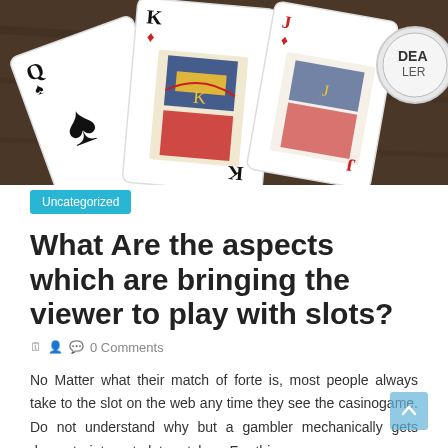[Figure (photo): Close-up photo of playing cards (Queen of Spades, King of Diamonds, and other cards) on a wooden table, with a white dealer chip visible on the right showing the text 'DEAL']
Uncategorized
What Are the aspects which are bringing the viewer to play with slots?
0 Comments
No Matter what their match of forte is, most people always take to the slot on the web any time they see the casinogame. Do not understand why but a gambler mechanically gets drawn to internet slot matches. For this reason, many owners and pros